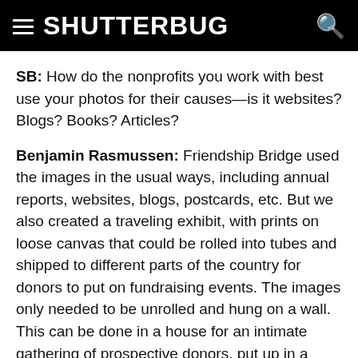SHUTTERBUG
SB: How do the nonprofits you work with best use your photos for their causes—is it websites? Blogs? Books? Articles?
Benjamin Rasmussen: Friendship Bridge used the images in the usual ways, including annual reports, websites, blogs, postcards, etc. But we also created a traveling exhibit, with prints on loose canvas that could be rolled into tubes and shipped to different parts of the country for donors to put on fundraising events. The images only needed to be unrolled and hung on a wall. This can be done in a house for an intimate gathering of prospective donors, put up in a community center for longer events, or hung in